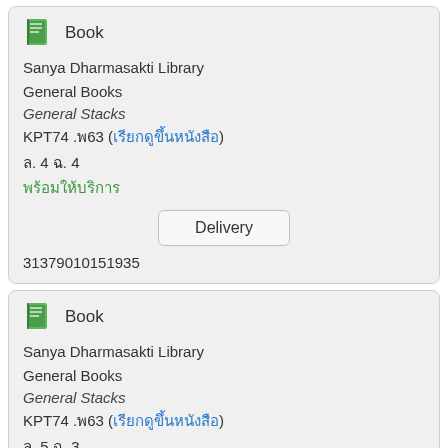[Figure (illustration): Green book icon with 'Book' label]
Sanya Dharmasakti Library
General Books
General Stacks
KPT74 .พ63 (เรียกดูขึ้นหนังสือ)
ล. 4 ฉ. 4
พร้อมให้บริการ
Delivery
31379010151935
[Figure (illustration): Green book icon with 'Book' label]
Sanya Dharmasakti Library
General Books
General Stacks
KPT74 .พ63 (เรียกดูขึ้นหนังสือ)
ล. 5 ฉ. 3
พร้อมให้บริการ